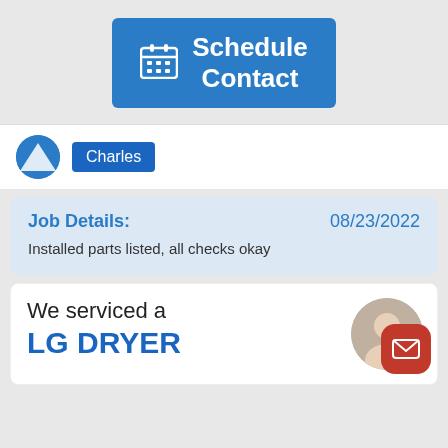[Figure (screenshot): Blue 'Schedule Contact' button with a calendar icon on a gray background]
Charles
Job Details: 08/23/2022
Installed parts listed, all checks okay
We serviced a
LG DRYER